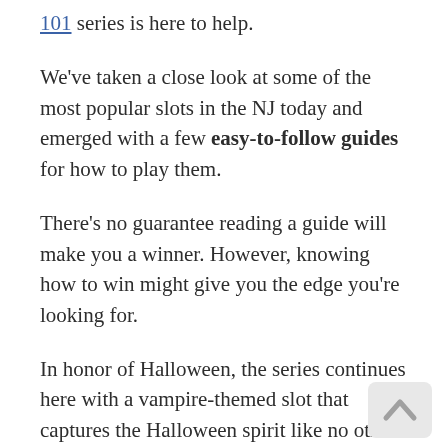101 series is here to help.
We've taken a close look at some of the most popular slots in the NJ today and emerged with a few easy-to-follow guides for how to play them.
There's no guarantee reading a guide will make you a winner. However, knowing how to win might give you the edge you're looking for.
In honor of Halloween, the series continues here with a vampire-themed slot that captures the Halloween spirit like no other. The Blood Suckers online slot is available at a variety of NJ online casinos, including:
Golden Nugget